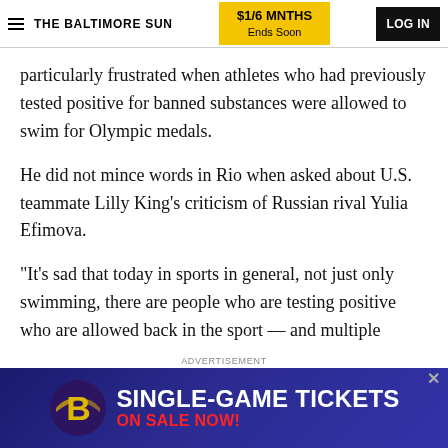THE BALTIMORE SUN | $1/6 MNTHS Ends Soon | LOG IN
particularly frustrated when athletes who had previously tested positive for banned substances were allowed to swim for Olympic medals.
He did not mince words in Rio when asked about U.S. teammate Lilly King's criticism of Russian rival Yulia Efimova.
"It's sad that today in sports in general, not just only swimming, there are people who are testing positive who are allowed back in the sport — and multiple
ADVERTISEMENT
[Figure (photo): Baltimore Ravens SINGLE-GAME TICKETS ON SALE NOW! advertisement banner with Ravens logo]